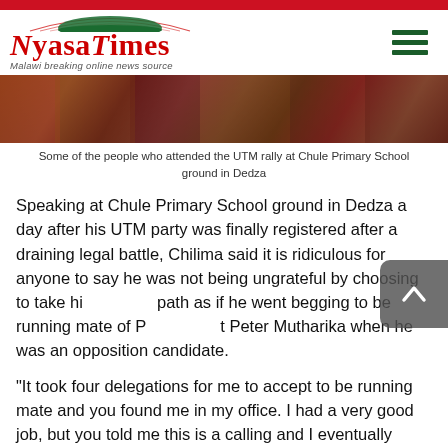Nyasa Times — Malawi breaking online news source
[Figure (photo): Colorful crowd of people at the UTM rally at Chule Primary School ground in Dedza]
Some of the people who attended the UTM rally at Chule Primary School ground in Dedza
Speaking at Chule Primary School ground in Dedza a day after his UTM party was finally registered after a draining legal battle, Chilima said it is ridiculous for anyone to say he was not being ungrateful by choosing to take his path as if he went begging to be running mate of President Peter Mutharika when he was an opposition candidate.
“It took four delegations for me to accept to be running mate and you found me in my office. I had a very good job, but you told me this is a calling and I eventually accepted.